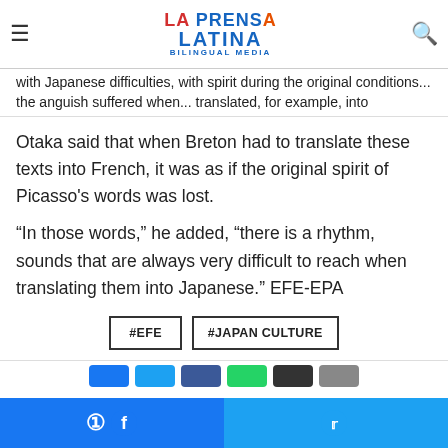La Prensa Latina Bilingual Media
with Japanese difficulties, with spirit during the original conditions... the anguish suffered when... translated, for example, into Japanese
Otaka said that when Breton had to translate these texts into French, it was as if the original spirit of Picasso's words was lost.
“In those words,” he added, “there is a rhythm, sounds that are always very difficult to reach when translating them into Japanese.” EFE-EPA
#EFE  #JAPAN CULTURE
Facebook share | Twitter share